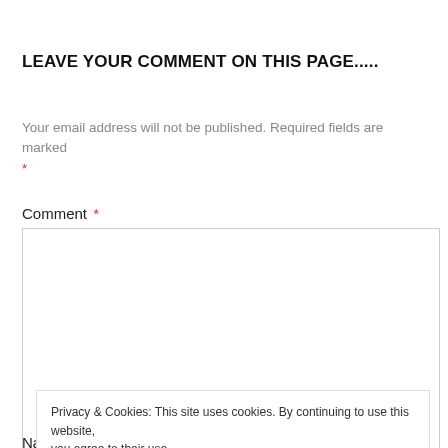LEAVE YOUR COMMENT ON THIS PAGE.....
Your email address will not be published. Required fields are marked *
Comment *
[Figure (screenshot): Empty comment text area input box]
Privacy & Cookies: This site uses cookies. By continuing to use this website, you agree to their use.
To find out more, including how to control cookies, see here: Cookie Policy
Close and accept
Name *